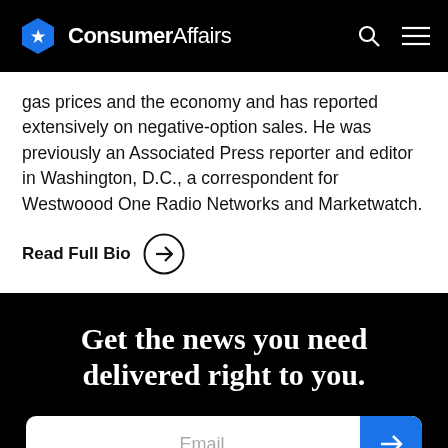ConsumerAffairs
gas prices and the economy and has reported extensively on negative-option sales. He was previously an Associated Press reporter and editor in Washington, D.C., a correspondent for Westwoood One Radio Networks and Marketwatch.
Read Full Bio →
Get the news you need delivered right to you.
Email